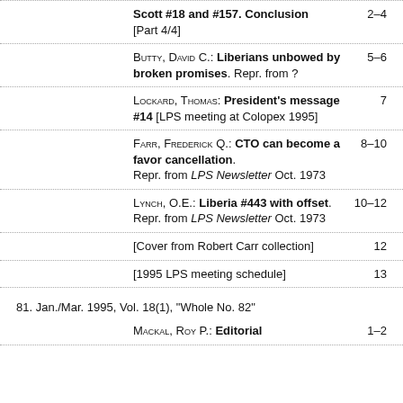Scott #18 and #157. Conclusion [Part 4/4]   2–4
Butty, David C.: Liberians unbowed by broken promises. Repr. from ?   5–6
Lockard, Thomas: President's message #14 [LPS meeting at Colopex 1995]   7
Farr, Frederick Q.: CTO can become a favor cancellation. Repr. from LPS Newsletter Oct. 1973   8–10
Lynch, O.E.: Liberia #443 with offset. Repr. from LPS Newsletter Oct. 1973   10–12
[Cover from Robert Carr collection]   12
[1995 LPS meeting schedule]   13
81. Jan./Mar. 1995, Vol. 18(1), "Whole No. 82"
Mackal, Roy P.: Editorial   1–2